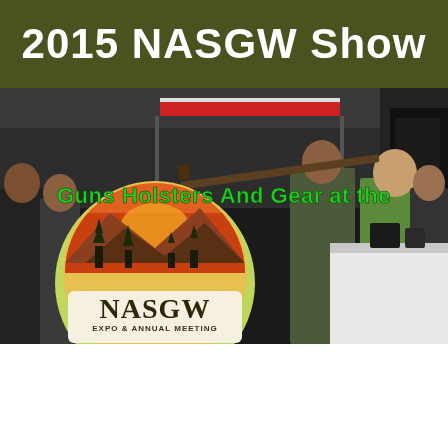2015 NASGW Show
[Figure (photo): Photo of the NASGW Expo & Annual Meeting show floor with attendees browsing exhibits and firearms displays. Overlaid is the NASGW logo circle with mountain/sunset scene and text 'NASGW EXPO & ANNUAL MEETING' and 'FROM THE EXPO FLOORS TO THE GREAT OUTDOORS'. Green text overlay reads 'Guns Holsters And Gear at the'.]